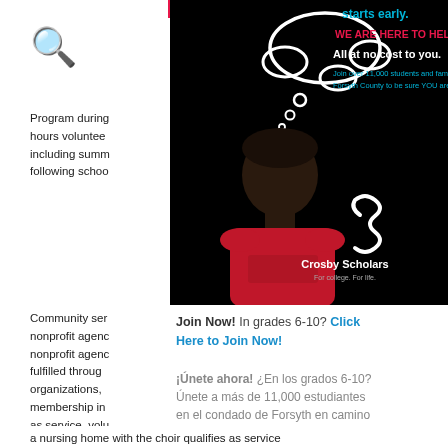[Figure (photo): Crosby Scholars advertisement on black background featuring a young boy in a red Crosby Scholars sweatshirt looking up at a thought cloud. Text reads: 'starts early. WE ARE HERE TO HELP! All at no cost to you. Join over 11,000 students and families in Forsyth County to be sure YOU are ready!' with the Crosby Scholars logo (For college. For life.)]
Program during hours volunteering including summer following school
Community service nonprofit agency nonprofit agency fulfilled through organizations, membership in as service, volunteer sponsored activities member of a youth
Join Now! In grades 6-10? Click Here to Join Now!
¡Únete ahora! ¿En los grados 6-10? Únete a más de 11,000 estudiantes en el condado de Forsyth en camino hacia la universidad. ¡Applicación en español!
a nursing home with the choir qualifies as service